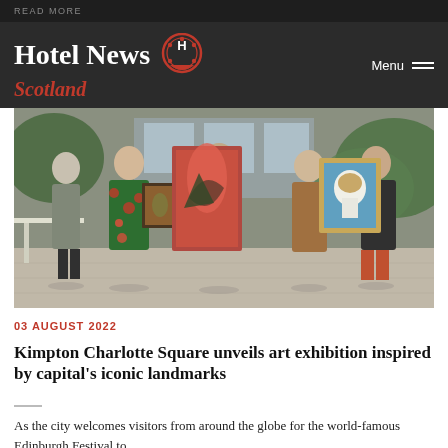READ MORE
Hotel News Scotland
[Figure (photo): Five people standing outdoors holding framed artworks. A woman in a floral dress holds a bird painting, a man in the center holds a large pink/red abstract painting, and a woman with a man on the right hold a painting of a dog in a white coat on a blue background. A man in a grey blazer stands on the far left.]
03 AUGUST 2022
Kimpton Charlotte Square unveils art exhibition inspired by capital's iconic landmarks
As the city welcomes visitors from around the globe for the world-famous Edinburgh Festival to